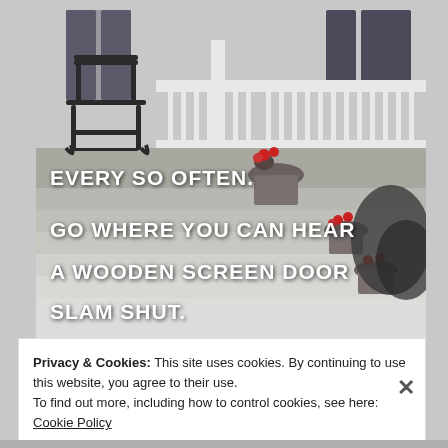[Figure (photo): Black and white photo of a classic American front porch with rocking chairs, white railing columns, and potted flowers with red blooms on porch steps. Overlaid bold white uppercase text quote about going where you can hear a wooden screen door slam shut.]
Privacy & Cookies: This site uses cookies. By continuing to use this website, you agree to their use.
To find out more, including how to control cookies, see here: Cookie Policy
Close and accept